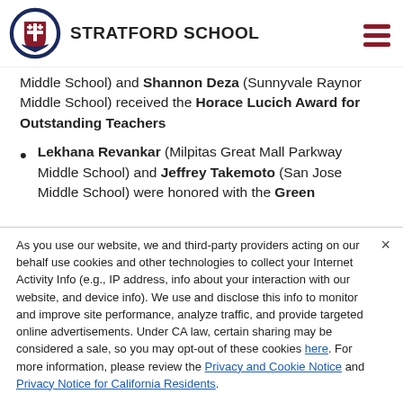STRATFORD SCHOOL
Middle School) and Shannon Deza (Sunnyvale Raynor Middle School) received the Horace Lucich Award for Outstanding Teachers
Lekhana Revankar (Milpitas Great Mall Parkway Middle School) and Jeffrey Takemoto (San Jose Middle School) were honored with the Green
As you use our website, we and third-party providers acting on our behalf use cookies and other technologies to collect your Internet Activity Info (e.g., IP address, info about your interaction with our website, and device info). We use and disclose this info to monitor and improve site performance, analyze traffic, and provide targeted online advertisements. Under CA law, certain sharing may be considered a sale, so you may opt-out of these cookies here. For more information, please review the Privacy and Cookie Notice and Privacy Notice for California Residents.